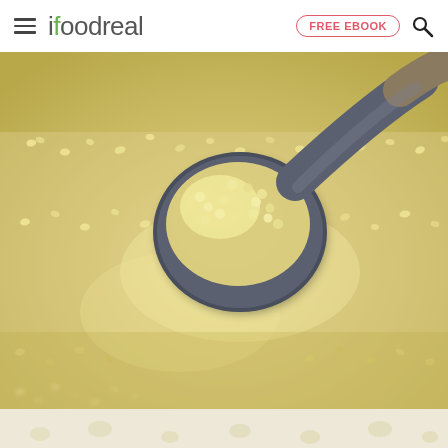ifoodreal — FREE EBOOK
[Figure (photo): Close-up photo of cooked quinoa grains filling the frame, with a dark gray/slate colored serving spoon scooping a mound of quinoa. The quinoa is light golden-yellow in color, and the spoon has a wooden handle visible at upper right. The background is entirely quinoa grains, slightly out of focus at edges.]
[Figure (photo): Bottom strip showing out-of-focus quinoa grains on a light beige/cream surface, very blurred.]